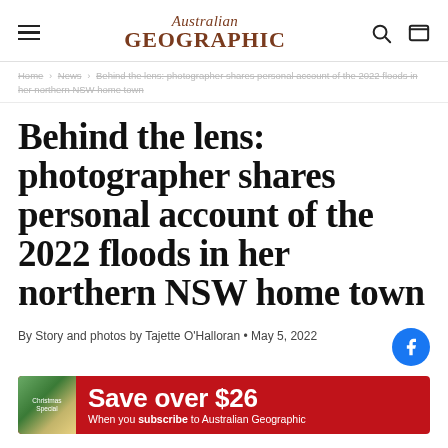Australian Geographic
Home › News › Behind the lens: photographer shares personal account of the 2022 floods in her northern NSW home town
Behind the lens: photographer shares personal account of the 2022 floods in her northern NSW home town
By Story and photos by Tajette O'Halloran • May 5, 2022
[Figure (infographic): Red advertisement banner: Save over $26 When you subscribe to Australian Geographic, with a magazine thumbnail on the left.]